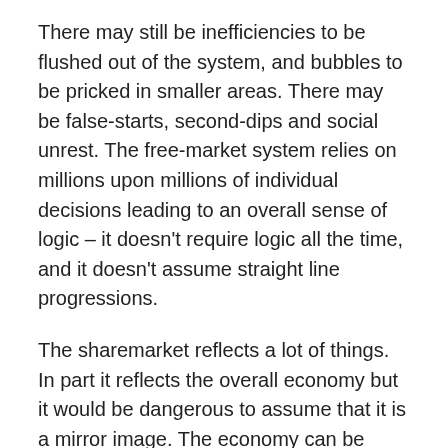There may still be inefficiencies to be flushed out of the system, and bubbles to be pricked in smaller areas. There may be false-starts, second-dips and social unrest. The free-market system relies on millions upon millions of individual decisions leading to an overall sense of logic – it doesn't require logic all the time, and it doesn't assume straight line progressions.
The sharemarket reflects a lot of things. In part it reflects the overall economy but it would be dangerous to assume that it is a mirror image. The economy can be doing well while the market is falling, and vice versa.
In other words, fears and worries about various segments of the domestic and global economy aren't necessarily good indicator points of when